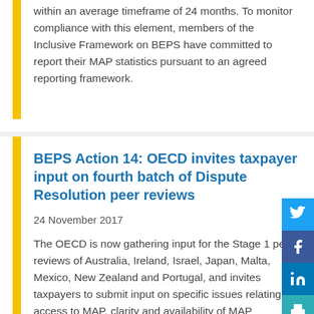within an average timeframe of 24 months. To monitor compliance with this element, members of the Inclusive Framework on BEPS have committed to report their MAP statistics pursuant to an agreed reporting framework.
BEPS Action 14: OECD invites taxpayer input on fourth batch of Dispute Resolution peer reviews
24 November 2017
The OECD is now gathering input for the Stage 1 peer reviews of Australia, Ireland, Israel, Japan, Malta, Mexico, New Zealand and Portugal, and invites taxpayers to submit input on specific issues relating to access to MAP, clarity and availability of MAP guidance and the timely